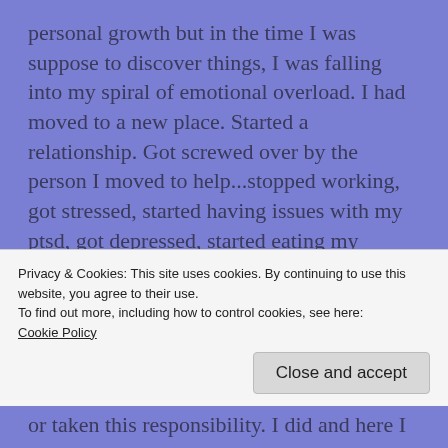personal growth but in the time I was suppose to discover things, I was falling into my spiral of emotional overload. I had moved to a new place. Started a relationship. Got screwed over by the person I moved to help...stopped working, got stressed, started having issues with my ptsd, got depressed, started eating my feelings.
I know what you're thinking. Ok, big deal life happens to everyone. Which is true, life doesn't discriminate. I guess I had a year before I even
Privacy & Cookies: This site uses cookies. By continuing to use this website, you agree to their use.
To find out more, including how to control cookies, see here:
Cookie Policy
or taken this responsibility. I did and here I am.